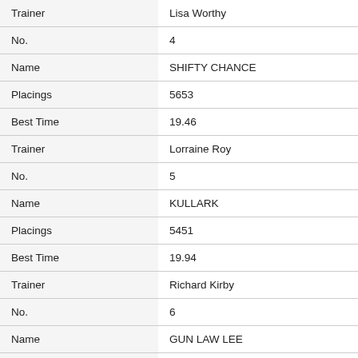| Field | Value |
| --- | --- |
| Trainer | Lisa Worthy |
| No. | 4 |
| Name | SHIFTY CHANCE |
| Placings | 5653 |
| Best Time | 19.46 |
| Trainer | Lorraine Roy |
| No. | 5 |
| Name | KULLARK |
| Placings | 5451 |
| Best Time | 19.94 |
| Trainer | Richard Kirby |
| No. | 6 |
| Name | GUN LAW LEE |
| Placings | 1666 |
| Best Time | 19.23 |
| Trainer | Trevor Bermingham |
| No. | 7 |